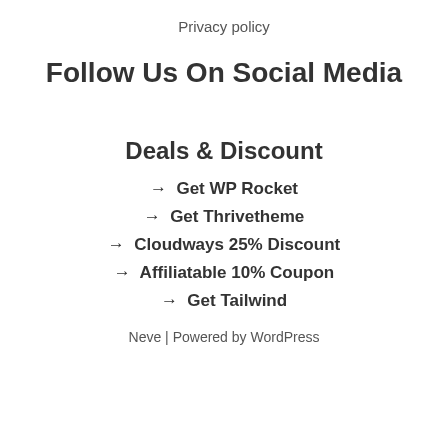Privacy policy
Follow Us On Social Media
Deals & Discount
→  Get WP Rocket
→  Get Thrivetheme
→  Cloudways 25% Discount
→  Affiliatable 10% Coupon
→  Get Tailwind
Neve | Powered by WordPress